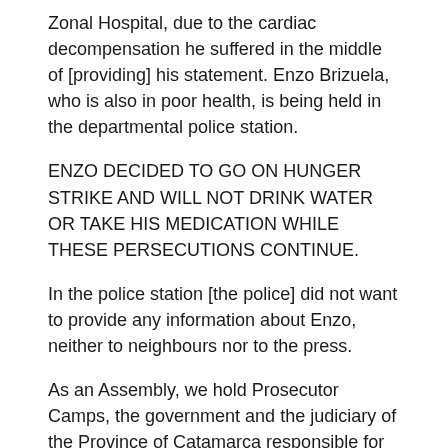Zonal Hospital, due to the cardiac decompensation he suffered in the middle of [providing] his statement. Enzo Brizuela, who is also in poor health, is being held in the departmental police station.
ENZO DECIDED TO GO ON HUNGER STRIKE AND WILL NOT DRINK WATER OR TAKE HIS MEDICATION WHILE THESE PERSECUTIONS CONTINUE.
In the police station [the police] did not want to provide any information about Enzo, neither to neighbours nor to the press.
As an Assembly, we hold Prosecutor Camps, the government and the judiciary of the Province of Catamarca responsible for damages to the physical and mental integrity of the detainees and the people who continue to resist the imposition of this project that every day threatens to kill the entire community of Andalgalá and the whole region.